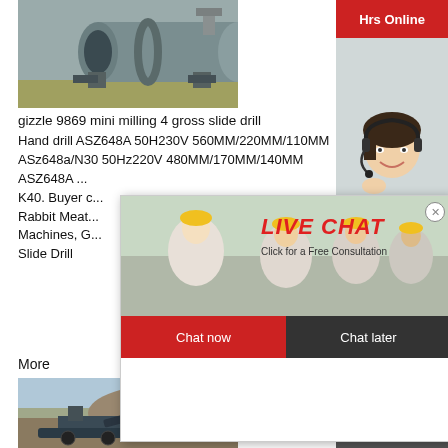[Figure (photo): Industrial ball mill machine, grey cylindrical grinder with gears, in a factory setting]
gizzle 9869 mini milling 4 gross slide drill
Hand drill ASZ648A 50H230V 560MM/220MM/110MM
ASz648a/N30 50Hz220V 480MM/170MM/140MM
ASZ648A ...
K40. Buyer c...
Rabbit Meat...
Machines, G...
Slide Drill
More
[Figure (photo): Heavy construction machinery working at a mining or quarrying site with dirt mounds]
[Figure (photo): Live Chat popup overlay with workers in hard hats, LIVE CHAT title, Click for a Free Consultation, Chat now and Chat later buttons]
[Figure (photo): Right sidebar with Hrs Online banner, customer service agent with headset photo, Need questions & suggestion? text and Chat Now button]